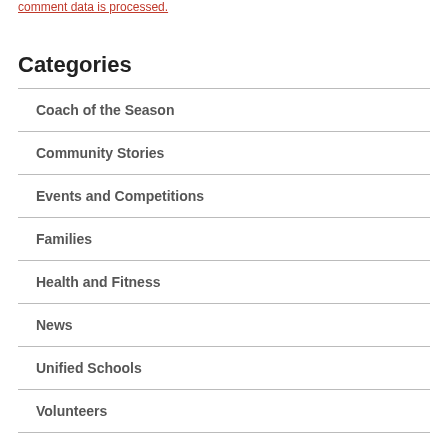comment data is processed.
Categories
Coach of the Season
Community Stories
Events and Competitions
Families
Health and Fitness
News
Unified Schools
Volunteers